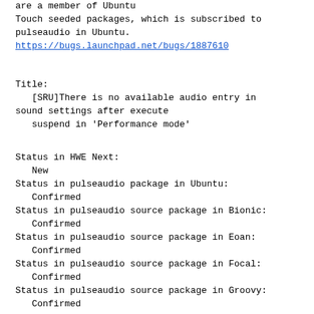are a member of Ubuntu Touch seeded packages, which is subscribed to pulseaudio in Ubuntu.
https://bugs.launchpad.net/bugs/1887610
Title:
   [SRU]There is no available audio entry in sound settings after execute
   suspend in 'Performance mode'
Status in HWE Next:
   New
Status in pulseaudio package in Ubuntu:
   Confirmed
Status in pulseaudio source package in Bionic:
   Confirmed
Status in pulseaudio source package in Eoan:
   Confirmed
Status in pulseaudio source package in Focal:
   Confirmed
Status in pulseaudio source package in Groovy:
   Confirmed